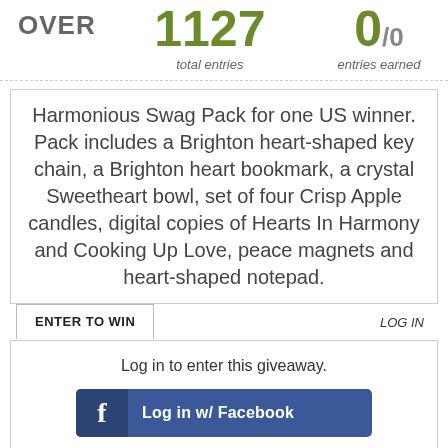OVER  1127 total entries  0/0 entries earned
Harmonious Swag Pack for one US winner. Pack includes a Brighton heart-shaped key chain, a Brighton heart bookmark, a crystal Sweetheart bowl, set of four Crisp Apple candles, digital copies of Hearts In Harmony and Cooking Up Love, peace magnets and heart-shaped notepad.
ENTER TO WIN
LOG IN
Log in to enter this giveaway.
[Figure (screenshot): Facebook login button with 'f' icon and text 'Log in w/ Facebook']
or